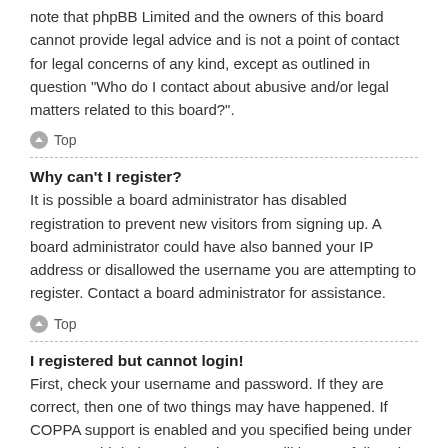note that phpBB Limited and the owners of this board cannot provide legal advice and is not a point of contact for legal concerns of any kind, except as outlined in question “Who do I contact about abusive and/or legal matters related to this board?”.
↑ Top
Why can’t I register?
It is possible a board administrator has disabled registration to prevent new visitors from signing up. A board administrator could have also banned your IP address or disallowed the username you are attempting to register. Contact a board administrator for assistance.
↑ Top
I registered but cannot login!
First, check your username and password. If they are correct, then one of two things may have happened. If COPPA support is enabled and you specified being under 13 years old during registration, you will have to follow the instructions you received. Some boards will also require new registrations to be activated, either by yourself or by an administrator before you can logon; this information was present during registration. If you were sent an email, follow the instructions.